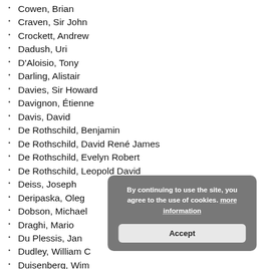Cowen, Brian
Craven, Sir John
Crockett, Andrew
Dadush, Uri
D'Aloisio, Tony
Darling, Alistair
Davies, Sir Howard
Davignon, Étienne
Davis, David
De Rothschild, Benjamin
De Rothschild, David René James
De Rothschild, Evelyn Robert
De Rothschild, Leopold David
Deiss, Joseph
Deripaska, Oleg
Dobson, Michael
Draghi, Mario
Du Plessis, Jan
Dudley, William C
Duisenberg, Wim
By continuing to use the site, you agree to the use of cookies. more information